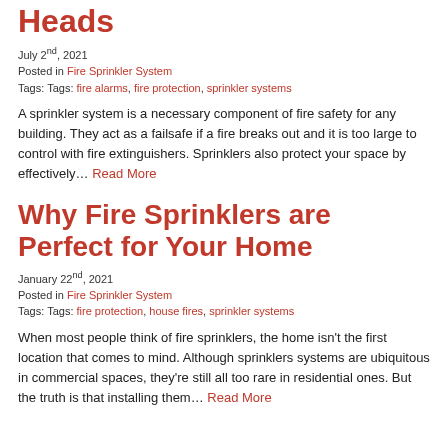Heads
July 2nd, 2021
Posted in Fire Sprinkler System
Tags: Tags: fire alarms, fire protection, sprinkler systems
A sprinkler system is a necessary component of fire safety for any building. They act as a failsafe if a fire breaks out and it is too large to control with fire extinguishers. Sprinklers also protect your space by effectively… Read More
Why Fire Sprinklers are Perfect for Your Home
January 22nd, 2021
Posted in Fire Sprinkler System
Tags: Tags: fire protection, house fires, sprinkler systems
When most people think of fire sprinklers, the home isn't the first location that comes to mind. Although sprinklers systems are ubiquitous in commercial spaces, they're still all too rare in residential ones. But the truth is that installing them… Read More